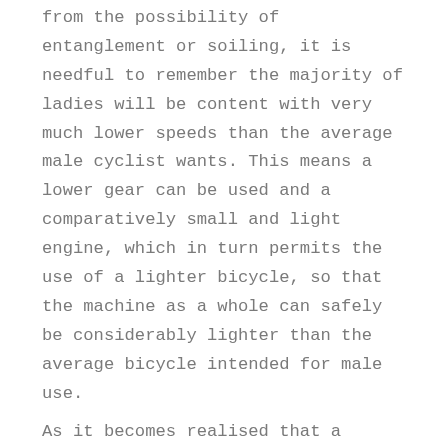from the possibility of entanglement or soiling, it is needful to remember the majority of ladies will be content with very much lower speeds than the average male cyclist wants. This means a lower gear can be used and a comparatively small and light engine, which in turn permits the use of a lighter bicycle, so that the machine as a whole can safely be considerably lighter than the average bicycle intended for male use. As it becomes realised that a specially designed and constructed machine for feminine use is available, the demand will undoubtedly grow rapidly, not only because the fair votaries of the sport are sure to make converts among their friends, but also on account of the fact that the trailer and forecarriage are introducing a large